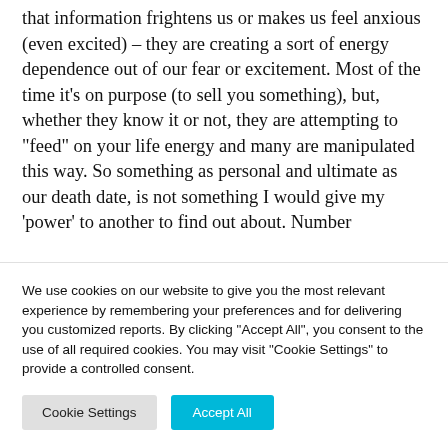that information frightens us or makes us feel anxious (even excited) – they are creating a sort of energy dependence out of our fear or excitement. Most of the time it's on purpose (to sell you something), but, whether they know it or not, they are attempting to "feed" on your life energy and many are manipulated this way. So something as personal and ultimate as our death date, is not something I would give my 'power' to another to find out about. Number
We use cookies on our website to give you the most relevant experience by remembering your preferences and for delivering you customized reports. By clicking "Accept All", you consent to the use of all required cookies. You may visit "Cookie Settings" to provide a controlled consent.